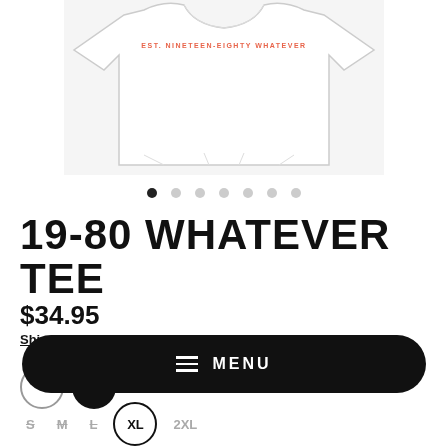[Figure (photo): White t-shirt with text 'EST. NINETEEN-EIGHTY WHATEVER' on front, displayed flat against white background]
[Figure (other): Image carousel pagination dots: 7 dots, first one filled/active, rest outlined]
19-80 WHATEVER TEE
$34.95
Shipping calculated at checkout.
[Figure (other): Color swatches: white circle and black circle]
[Figure (other): Navigation menu bar with hamburger icon and MENU text]
[Figure (other): Size selector buttons: S (strikethrough), M (strikethrough), L (strikethrough), XL (selected/circled), 2XL]